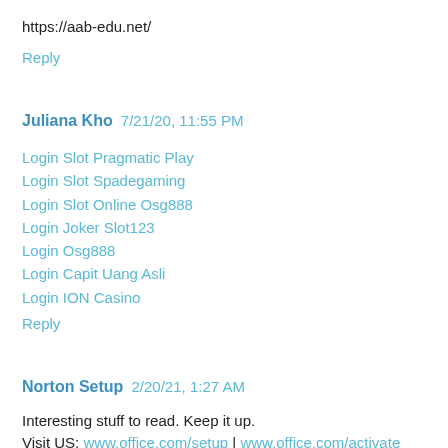https://aab-edu.net/
Reply
Juliana Kho  7/21/20, 11:55 PM
Login Slot Pragmatic Play
Login Slot Spadegaming
Login Slot Online Osg888
Login Joker Slot123
Login Osg888
Login Capit Uang Asli
Login ION Casino
Reply
Norton Setup  2/20/21, 1:27 AM
Interesting stuff to read. Keep it up.
Visit US: www.office.com/setup | www.office.com/activate
Reply